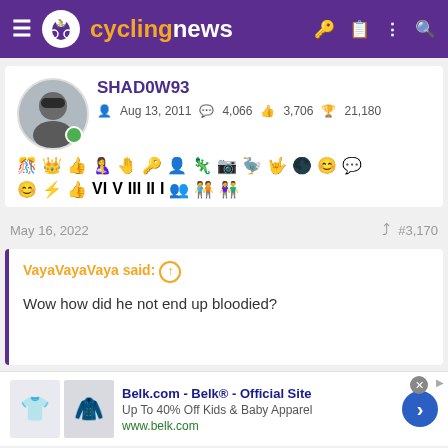cyclingnews
SHAD0W93
Aug 13, 2011  4,066  3,706  21,180
May 16, 2022  #3,170
VayaVayaVaya said: ↑
Wow how did he not end up bloodied?
Belk.com - Belk® - Official Site
Up To 40% Off Kids & Baby Apparel
www.belk.com